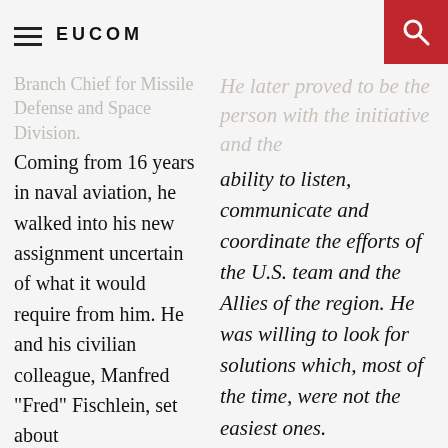EUCOM
Branch Chief for Missile Defense and Space Division. Coming from 16 years in naval aviation, he walked into his new assignment uncertain of what it would require from him. He and his civilian colleague, Manfred “Fred” Fischlein, set about
He later proved to be the person with the initiative and the ability to listen, communicate and coordinate the efforts of the U.S. team and the Allies of the region. He was willing to look for solutions which, most of the time, were not the easiest ones.